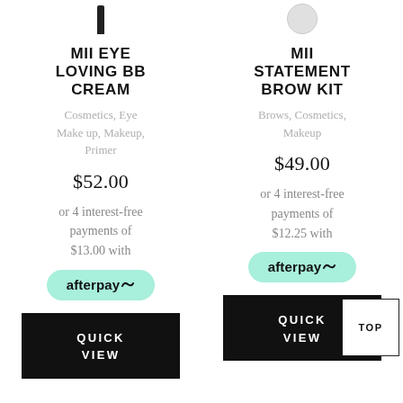[Figure (photo): Product image top of left column - pencil/eyeliner shape]
[Figure (photo): Product image top of right column - circular compact shape]
MII EYE LOVING BB CREAM
MII STATEMENT BROW KIT
Cosmetics, Eye Make up, Makeup, Primer
Brows, Cosmetics, Makeup
$52.00
$49.00
or 4 interest-free payments of $13.00 with afterpay
or 4 interest-free payments of $12.25 with afterpay
QUICK VIEW
QUICK VIEW
TOP